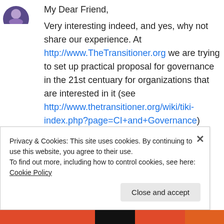[Figure (illustration): Partial circular avatar icon visible at top left]
My Dear Friend,
Very interesting indeed, and yes, why not share our experience. At http://www.TheTransitioner.org we are trying to set up practical proposal for governance in the 21st centuary for organizations that are interested in it (see http://www.thetransitioner.org/wiki/tiki-index.php?page=CI+and+Governance)
We have also started a short list about
Privacy & Cookies: This site uses cookies. By continuing to use this website, you agree to their use.
To find out more, including how to control cookies, see here: Cookie Policy
Close and accept